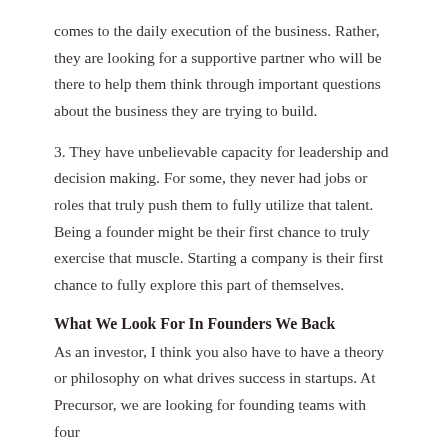comes to the daily execution of the business. Rather, they are looking for a supportive partner who will be there to help them think through important questions about the business they are trying to build.
3. They have unbelievable capacity for leadership and decision making. For some, they never had jobs or roles that truly push them to fully utilize that talent. Being a founder might be their first chance to truly exercise that muscle. Starting a company is their first chance to fully explore this part of themselves.
What We Look For In Founders We Back
As an investor, I think you also have to have a theory or philosophy on what drives success in startups. At Precursor, we are looking for founding teams with four